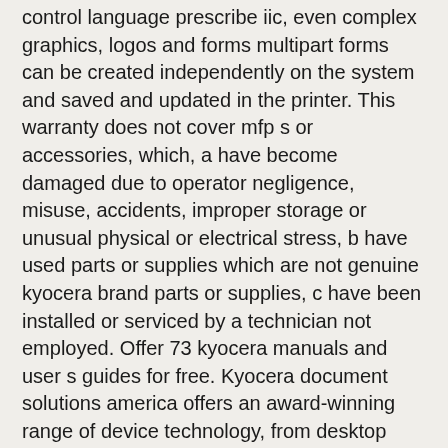control language prescribe iic, even complex graphics, logos and forms multipart forms can be created independently on the system and saved and updated in the printer. This warranty does not cover mfp s or accessories, which, a have become damaged due to operator negligence, misuse, accidents, improper storage or unusual physical or electrical stress, b have used parts or supplies which are not genuine kyocera brand parts or supplies, c have been installed or serviced by a technician not employed. Offer 73 kyocera manuals and user s guides for free. Kyocera document solutions america offers an award-winning range of device technology, from desktop printers and multifunctional printers to robust color and black & white multifunctional products and business applications, that turn otherwise complex document workflows into simple processes. With a paper capacity of up to 2,100 sheets, a smooth workflow is guaranteed. Have a look at the manual kyocera fs 3140mfp user manual online for free. Misumi offers free cad downloads, short lead times, competitive pricing, and no minimum order quantity. By kyocera fs-3040 mfp this